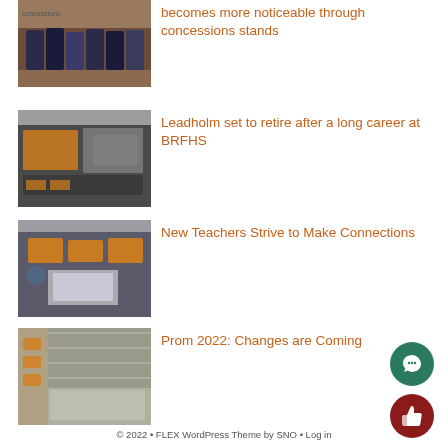[Figure (photo): Bottles of drinks/beverages displayed on shelves at concessions stand]
becomes more noticeable through concessions stands
[Figure (photo): Classroom view with orange bulletin board and orange chairs]
Leadholm set to retire after a long career at BRFHS
[Figure (photo): Modern classroom with orange chairs and a projector screen]
New Teachers Strive to Make Connections
[Figure (photo): School cafeteria or common area with large windows]
Prom 2022: Changes are Coming
© 2022 • FLEX WordPress Theme by SNO • Log in